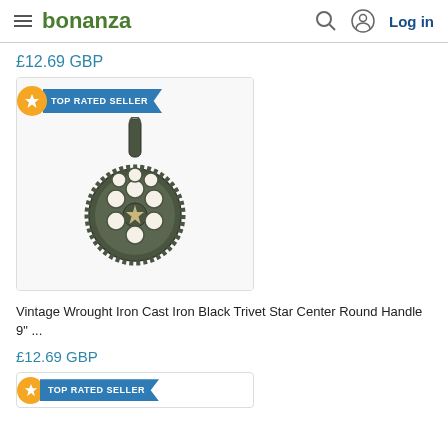bonanza  Log in
£12.69 GBP
[Figure (photo): Vintage wrought iron cast iron black trivet with star center, round handle, gear-tooth edge, photographed on white background with TOP RATED SELLER badge]
Vintage Wrought Iron Cast Iron Black Trivet Star Center Round Handle 9" ...
£12.69 GBP
[Figure (photo): Partial product listing with TOP RATED SELLER badge visible at bottom of page]